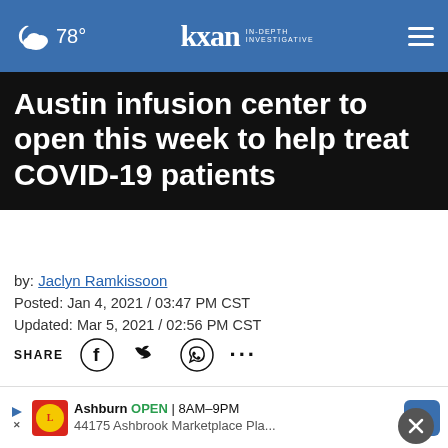78° | KXAN IN-DEPTH INVESTIGATIVE
Austin infusion center to open this week to help treat COVID-19 patients
by: Jaclyn Ramkissoon
Posted: Jan 4, 2021 / 03:47 PM CST
Updated: Mar 5, 2021 / 02:56 PM CST
SHARE
AUSTIN (KXAN) — An infusion center to help treat those ... on Wedne...
Ashburn OPEN 8AM–9PM 44175 Ashbrook Marketplace Pla...